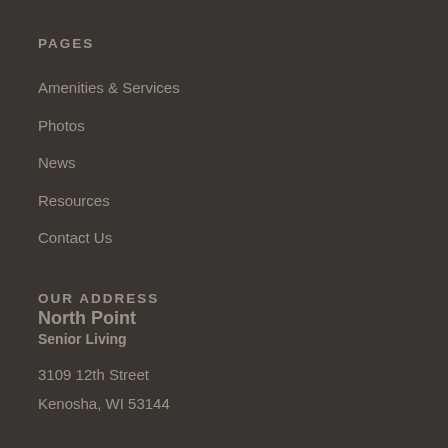PAGES
Amenities & Services
Photos
News
Resources
Contact Us
OUR ADDRESS
North Point Senior Living
3109 12th Street
Kenosha, WI 53144